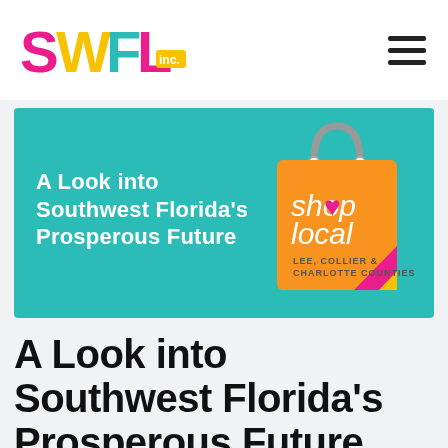SWFL inc.
[Figure (illustration): Banner with teal background showing 'A Look into Southwest Florida's Prosperous Future' text on the left and a Shop Local shopping bag graphic on the right for Lee, Collier & Charlotte Counties]
A Look into Southwest Florida's Prosperous Future